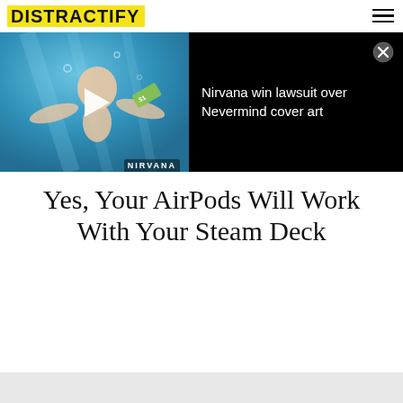DISTRACTIFY
[Figure (screenshot): Video thumbnail showing Nirvana Nevermind album cover underwater baby image with play button overlay, beside black panel with text 'Nirvana win lawsuit over Nevermind cover art' and close button]
Yes, Your AirPods Will Work With Your Steam Deck